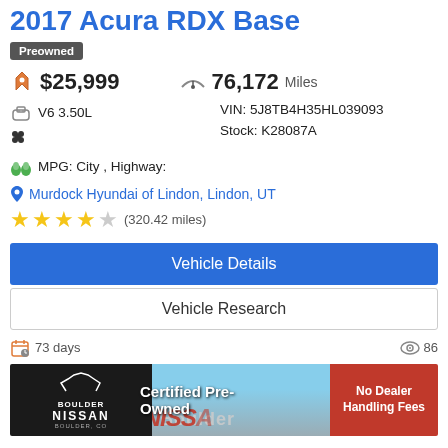2017 Acura RDX Base
Preowned
$25,999   76,172 Miles
V6 3.50L
VIN: 5J8TB4H35HL039093
Stock: K28087A
MPG: City , Highway:
Murdock Hyundai of Lindon, Lindon, UT
★★★★☆ (320.42 miles)
Vehicle Details
Vehicle Research
73 days   86
[Figure (photo): Boulder Nissan dealership advertisement banner showing Certified Pre-Owned and No Dealer Handling Fees]